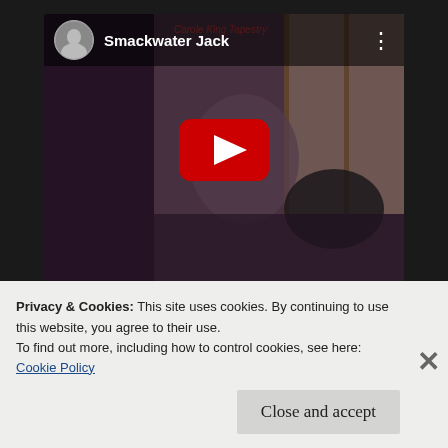[Figure (screenshot): YouTube video embed showing 'Smackwater Jack' with a circular avatar thumbnail, video title text, three-dot menu icon, album name 'Carole King Tapestry' in red at top, and a large red YouTube play button over a photo of a woman seated with a cat]
In addition to its music, Smackwater Jack stands out lyrically. It sounds less personal and less
Privacy & Cookies: This site uses cookies. By continuing to use this website, you agree to their use.
To find out more, including how to control cookies, see here:
Cookie Policy
Close and accept